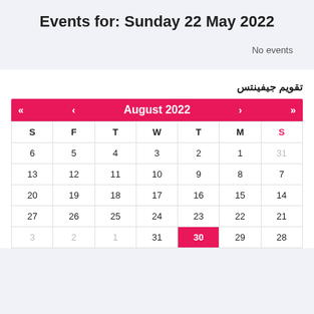Events for: Sunday 22 May 2022
No events
تقويم جيفينتس
| S | F | T | W | T | M | S |
| --- | --- | --- | --- | --- | --- | --- |
| 6 | 5 | 4 | 3 | 2 | 1 | 31 |
| 13 | 12 | 11 | 10 | 9 | 8 | 7 |
| 20 | 19 | 18 | 17 | 16 | 15 | 14 |
| 27 | 26 | 25 | 24 | 23 | 22 | 21 |
| 3 | 2 | 1 | 31 | 30 | 29 | 28 |